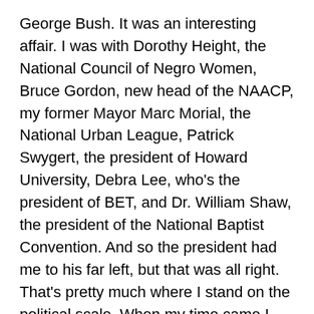George Bush. It was an interesting affair. I was with Dorothy Height, the National Council of Negro Women, Bruce Gordon, new head of the NAACP, my former Mayor Marc Morial, the National Urban League, Patrick Swygert, the president of Howard University, Debra Lee, who's the president of BET, and Dr. William Shaw, the president of the National Baptist Convention. And so the president had me to his far left, but that was all right. That's pretty much where I stand on the political scale. When my time came I said to the president, I said, "Mr. President, you'll be a hero if you rebuild those levees." After all, they're federal levees.
When I was a little girl, you know, you could tell how much money your family had by where you're born. I